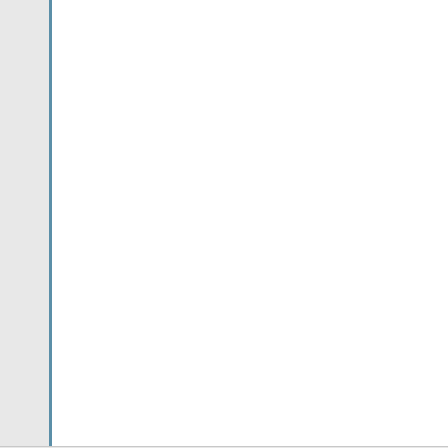When I open the config / ID part, for a very small moment I see other code, then it changes to 3FF8.

I've plugged the erased 12F822 into the circuit with other code, behaves the same with the one programmed with

I've erased the chip, then loaded it with the button- from the chip. The code is there, it loads fine from does nothing when run.

(Is this 3FF8 ok for my conf settings above from th

If i read an erased chip, it is really empty, no code.

I've programmed other 16F series pics for testing, programmed without problems.

Config is ticked under options at all times. Bulk era and use LVP is auto.

In device tab, at the bottom of the target chip table this is usual. The device is powered by the icd-64.
Ttelmah
Posted: Wed May 10, 2017 7:37 am
No, 0x3FF8, is not OK. It is the erased state (all 1